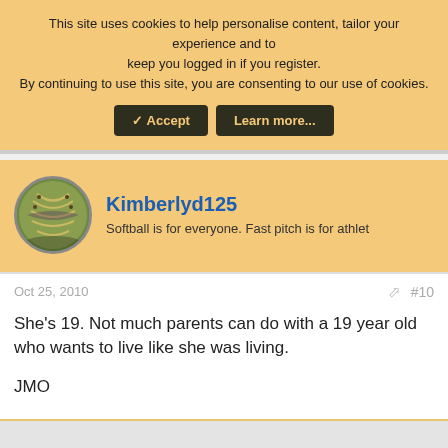This site uses cookies to help personalise content, tailor your experience and to keep you logged in if you register. By continuing to use this site, you are consenting to our use of cookies.
Accept | Learn more...
Kimberlyd125
Softball is for everyone. Fast pitch is for athlet
Oct 25, 2010
#10
She's 19. Not much parents can do with a 19 year old who wants to live like she was living.

JMO